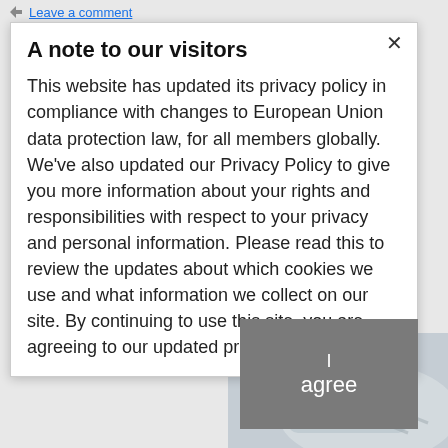Leave a comment
A note to our visitors
This website has updated its privacy policy in compliance with changes to European Union data protection law, for all members globally. We've also updated our Privacy Policy to give you more information about your rights and responsibilities with respect to your privacy and personal information. Please read this to review the updates about which cookies we use and what information we collect on our site. By continuing to use this site, you are agreeing to our updated privacy policy.
[Figure (other): Gray 'I agree' button overlay on the right side of the modal]
[Figure (photo): Partial image of hands clasped together in the bottom right corner]